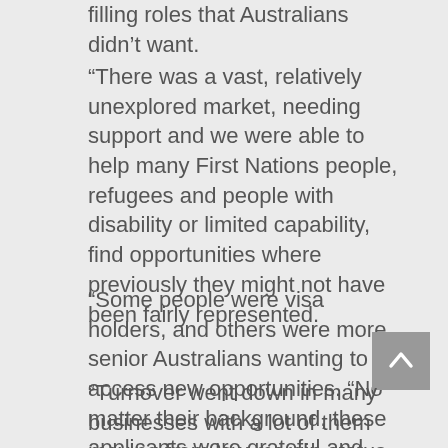filling roles that Australians didn't want.
“There was a vast, relatively unexplored market, needing support and we were able to help many First Nations people, refugees and people with disability or limited capability, find opportunities where previously they might not have been fairly represented.
“Some people were visa holders, and others were more senior Australians wanting to access new opportunities. “No matter their background, these applicants were grateful and tended to stay in roles for longer.
“Turnover went down in many businesses with a lot of them moving from low margin status to some of the highest. And that was before the days of offsetting funds.” Flash forward to today, and you can find